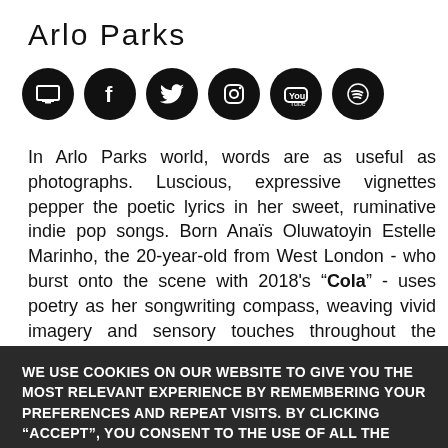Arlo Parks
[Figure (infographic): Six social media icons (website, Facebook, Twitter, Instagram, YouTube, Spotify) as white icons on black circles]
In Arlo Parks world, words are as useful as photographs. Luscious, expressive vignettes pepper the poetic lyrics in her sweet, ruminative indie pop songs. Born Anaïs Oluwatoyin Estelle Marinho, the 20-year-old from West London - who burst onto the scene with 2018's “Cola” - uses poetry as her songwriting compass, weaving vivid imagery and sensory touches throughout the stirring, honest stories that make up her already-rich body of work.
WE USE COOKIES ON OUR WEBSITE TO GIVE YOU THE MOST RELEVANT EXPERIENCE BY REMEMBERING YOUR PREFERENCES AND REPEAT VISITS. BY CLICKING “ACCEPT”, YOU CONSENT TO THE USE OF ALL THE COOKIES.
COOKIE SETTINGS
ACCEPT